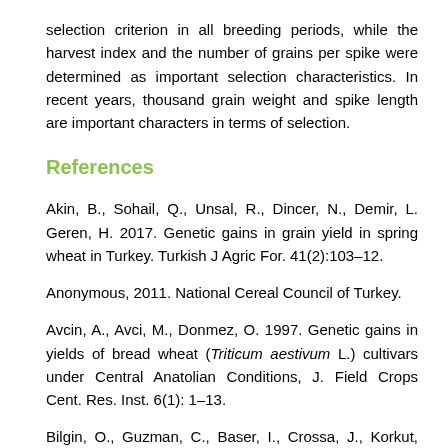selection criterion in all breeding periods, while the harvest index and the number of grains per spike were determined as important selection characteristics. In recent years, thousand grain weight and spike length are important characters in terms of selection.
References
Akin, B., Sohail, Q., Unsal, R., Dincer, N., Demir, L. Geren, H. 2017. Genetic gains in grain yield in spring wheat in Turkey. Turkish J Agric For. 41(2):103–12.
Anonymous, 2011. National Cereal Council of Turkey.
Avcin, A., Avci, M., Donmez, O. 1997. Genetic gains in yields of bread wheat (Triticum aestivum L.) cultivars under Central Anatolian Conditions, J. Field Crops Cent. Res. Inst. 6(1): 1–13.
Bilgin, O., Guzman, C., Baser, I., Crossa, J., Korkut, K.Z. 2016.